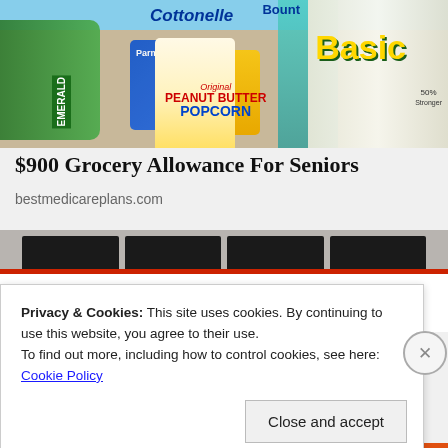[Figure (photo): Photo of grocery items including Cottonelle toilet paper, Bounty Basic paper towels, Emerald nuts, peanut butter popcorn bag, and other packaged foods on a wooden surface]
$900 Grocery Allowance For Seniors
bestmedicareplans.com
[Figure (photo): Photo of the Social Security Administration building exterior with banner sign reading 'SOCIAL SECURITY ADMINISTRATION', showing dark shelving/windows above and red poles on either side of the white banner]
Privacy & Cookies: This site uses cookies. By continuing to use this website, you agree to their use.
To find out more, including how to control cookies, see here: Cookie Policy
Close and accept